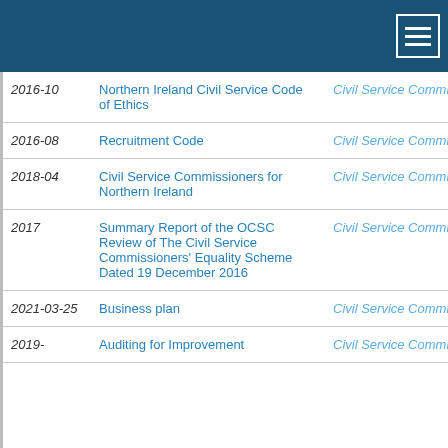Navigation header with hamburger menu
| Year | Title | Publisher |
| --- | --- | --- |
| 2016-10 | Northern Ireland Civil Service Code of Ethics | Civil Service Commission |
| 2016-08 | Recruitment Code | Civil Service Commission |
| 2018-04 | Civil Service Commissioners for Northern Ireland | Civil Service Commission |
| 2017 | Summary Report of the OCSC Review of The Civil Service Commissioners' Equality Scheme Dated 19 December 2016 | Civil Service Commission |
| 2021-03-25 | Business plan | Civil Service Commission |
| 2019- | Auditing for Improvement | Civil Service Commission |